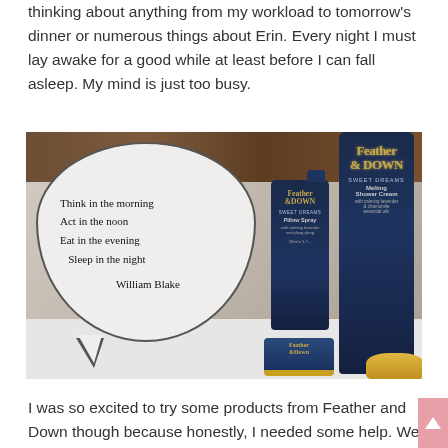thinking about anything from my workload to tomorrow's dinner or numerous things about Erin. Every night I must lay awake for a good while at least before I can fall asleep. My mind is just too busy.
[Figure (photo): Photo showing a speech bubble light box with a William Blake quote written in handwriting: 'Think in the morning / Act in the noon / Eat in the evening / Sleep in the night / William Blake'. Beside it are Feather & Down branded beauty products including a tall shower cream bottle, a pillow spray bottle, and a small cream jar.]
I was so excited to try some products from Feather and Down though because honestly, I needed some help. We